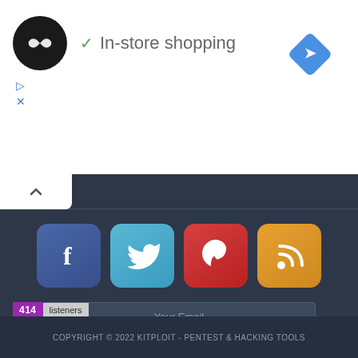[Figure (logo): Black circular logo with infinity-like symbol, checkmark icon and 'In-store shopping' text, blue diamond navigation icon on right]
SOCIAL
[Figure (infographic): Four social media icons: Facebook (blue), Twitter (light blue), Pinterest (red), RSS feed (orange/gold)]
Your Email
Subscribe to our Newsletter
[Figure (other): FeedBurner badge showing 414 listeners]
COPYRIGHT © 2022 KITPLOIT - PENTEST & HACKING TOOLS